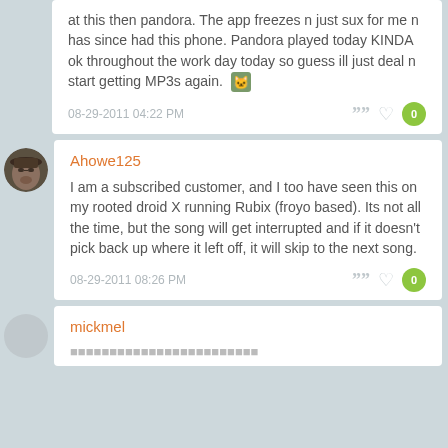at this then pandora. The app freezes n just sux for me n has since had this phone. Pandora played today KINDA ok throughout the work day today so guess ill just deal n start getting MP3s again. 🐱
08-29-2011 04:22 PM
Ahowe125
I am a subscribed customer, and I too have seen this on my rooted droid X running Rubix (froyo based). Its not all the time, but the song will get interrupted and if it doesn't pick back up where it left off, it will skip to the next song.
08-29-2011 08:26 PM
mickmel